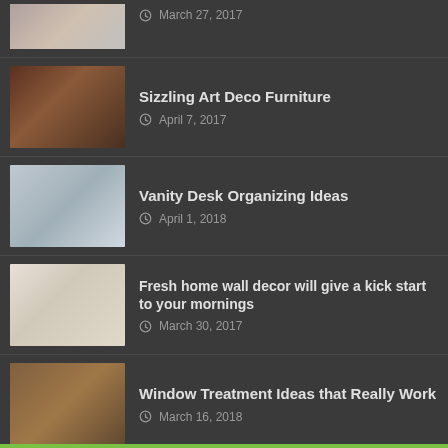March 27, 2017
Sizzling Art Deco Furniture | April 7, 2017
Vanity Desk Organizing Ideas | April 1, 2018
Fresh home wall decor will give a kick start to your mornings | March 30, 2017
Window Treatment Ideas that Really Work | March 16, 2018
Redecorate your place – install tiled bathrooms and showers